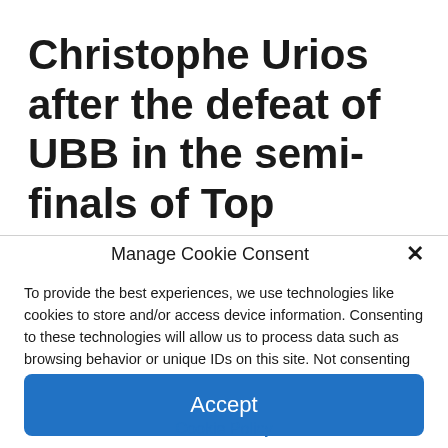Christophe Urios after the defeat of UBB in the semi-finals of Top
Manage Cookie Consent
To provide the best experiences, we use technologies like cookies to store and/or access device information. Consenting to these technologies will allow us to process data such as browsing behavior or unique IDs on this site. Not consenting or withdrawing consent, may adversely affect certain features and functions.
Accept
Cookie Policy